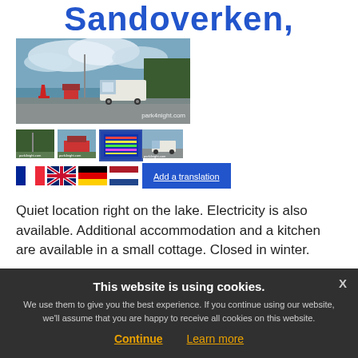Sandoverken,
[Figure (photo): Main photo of a motorhome parked at a lakeside location with cloudy sky, watermark: park4night.com]
[Figure (photo): Thumbnail 1: flagpole area]
[Figure (photo): Thumbnail 2: red building]
[Figure (photo): Thumbnail 3: sign/info board]
[Figure (photo): Thumbnail 4: motorhome on road]
[Figure (illustration): Row of country flags: French, UK, German, Dutch]
Add a translation
Quiet location right on the lake. Electricity is also available. Additional accommodation and a kitchen are available in a small cottage. Closed in winter.
This website is using cookies. We use them to give you the best experience. If you continue using our website, we'll assume that you are happy to receive all cookies on this website.
Continue
Learn more